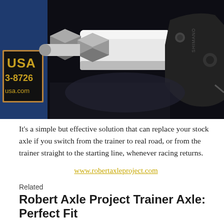[Figure (photo): Close-up photo of a bicycle trainer axle assembly — a white cylindrical trainer axle with metal hex nuts mounted on a blue frame component labeled 'USA' and phone number '3-8726' and 'usa.com'. Shimano derailleur visible on the right side. Dark background.]
It's a simple but effective solution that can replace your stock axle if you switch from the trainer to real road, or from the trainer straight to the starting line, whenever racing returns.
www.robertaxleproject.com
Related
Robert Axle Project Trainer Axle: Perfect Fit